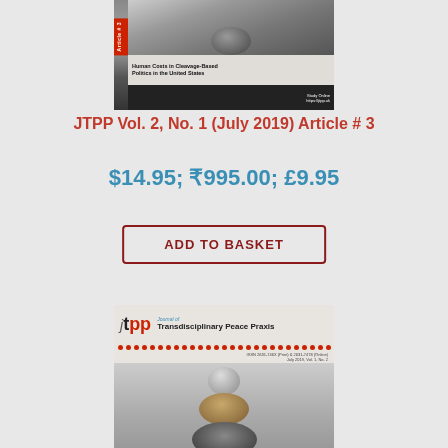[Figure (illustration): Journal cover showing Article #3 with stone/rock photo and title 'Human Costs in Cleavage-Based Politics in the United States']
JTPP Vol. 2, No. 1 (July 2019) Article # 3
$14.95; ₹995.00; £9.95
ADD TO BASKET
[Figure (illustration): Journal cover for Journal of Transdisciplinary Peace Praxis (jtpp), ISSN 2631-746X (Print) & 2631-7478 (Online), July 2019, Vol. 1, No. 2, showing stacked stones/rocks]